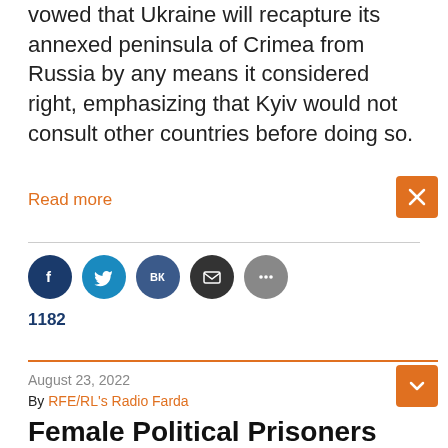vowed that Ukraine will recapture its annexed peninsula of Crimea from Russia by any means it considered right, emphasizing that Kyiv would not consult other countries before doing so.
Read more
[Figure (infographic): Orange close button with X icon in top right area]
[Figure (infographic): Social sharing icons: Facebook (dark blue), Twitter (light blue), VK (dark blue-grey), Email (dark grey), More (grey)]
1182
August 23, 2022
By RFE/RL's Radio Farda
Female Political Prisoners Ink Letter Deploring Conditions At